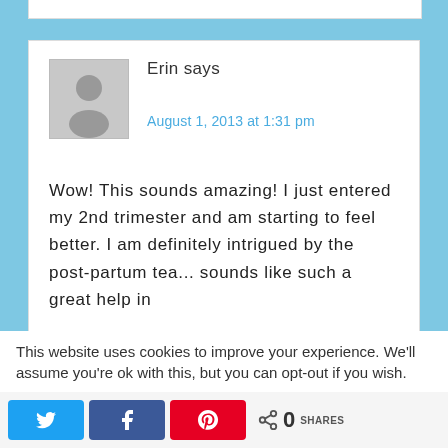Erin says
August 1, 2013 at 1:31 pm
Wow! This sounds amazing! I just entered my 2nd trimester and am starting to feel better. I am definitely intrigued by the post-partum tea... sounds like such a great help in
This website uses cookies to improve your experience. We'll assume you're ok with this, but you can opt-out if you wish.
0 SHARES